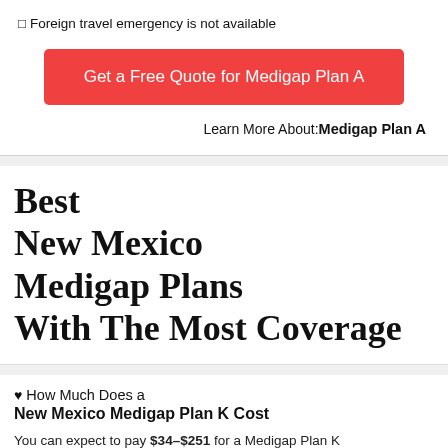□ Foreign travel emergency is not available
[Figure (other): Red button: Get a Free Quote for Medigap Plan A]
Learn More About: Medigap Plan A
Best New Mexico Medigap Plans With The Most Coverage
♥ How Much Does a New Mexico Medigap Plan K Cost
You can expect to pay $34–$251 for a Medigap Plan K